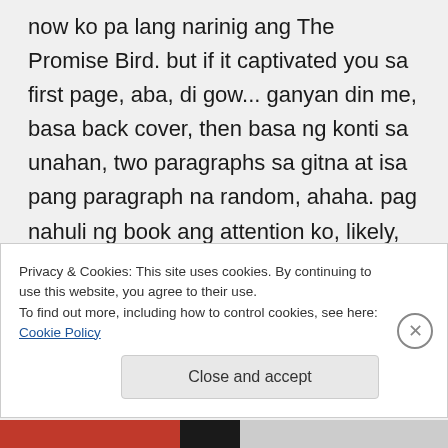now ko pa lang narinig ang The Promise Bird. but if it captivated you sa first page, aba, di gow... ganyan din me, basa back cover, then basa ng konti sa unahan, two paragraphs sa gitna at isa pang paragraph na random, ahaha. pag nahuli ng book ang attention ko, likely, bibilhin ko yon. kahit wala akong masyadong pera, patatawarin.
Privacy & Cookies: This site uses cookies. By continuing to use this website, you agree to their use. To find out more, including how to control cookies, see here: Cookie Policy
Close and accept